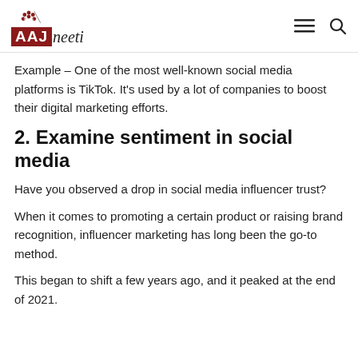AAJ neeti
Example – One of the most well-known social media platforms is TikTok. It's used by a lot of companies to boost their digital marketing efforts.
2. Examine sentiment in social media
Have you observed a drop in social media influencer trust?
When it comes to promoting a certain product or raising brand recognition, influencer marketing has long been the go-to method.
This began to shift a few years ago, and it peaked at the end of 2021.